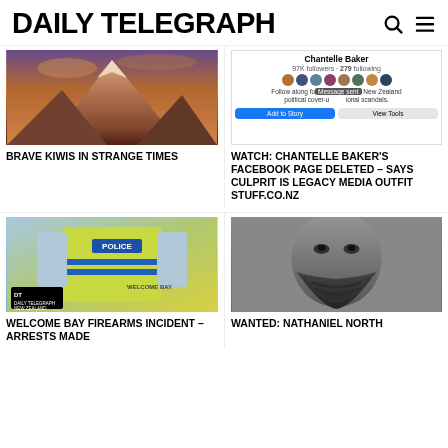DAILY TELEGRAPH
[Figure (photo): Mountain peak with warm orange/purple sky and clouds]
BRAVE KIWIS IN STRANGE TIMES
[Figure (screenshot): Facebook page screenshot for Chantelle Baker with 97K followers, 279 following, Message sent overlay, Add to Story and View Tools buttons]
WATCH: CHANTELLE BAKER'S FACEBOOK PAGE DELETED – SAYS CULPRIT IS LEGACY MEDIA OUTFIT STUFF.CO.NZ
[Figure (photo): Police officer in high-visibility yellow vest with POLICE badge, Welcome Bay text visible in background]
WELCOME BAY FIREARMS INCIDENT – ARRESTS MADE
[Figure (photo): Mugshot of man with heavy facial tattoos covering lower face]
WANTED: NATHANIEL NORTH